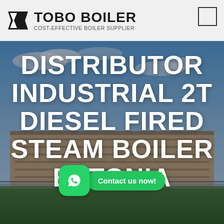[Figure (logo): Tobo Boiler logo with stylized T icon and text 'TOBO BOILER - COST-EFFECTIVE BOILER SUPPLIER']
DISTRIBUTOR INDUSTRIAL 2T DIESEL FIRED STEAM BOILER ESTONIA
[Figure (illustration): WhatsApp contact button with green icon and 'Contact us now!' bubble, overlaid on hero image of industrial building]